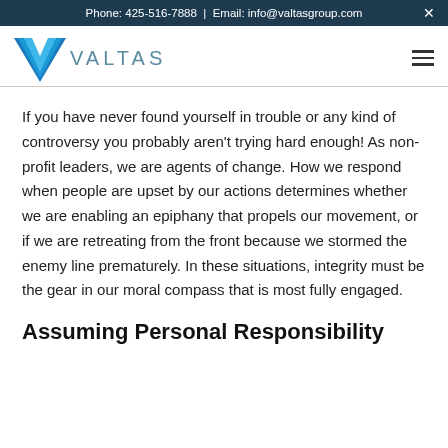Phone: 425-516-7888  |  Email: info@valtasgroup.com
[Figure (logo): Valtas Group logo with blue V chevron and 'VALTAS' text in light blue]
If you have never found yourself in trouble or any kind of controversy you probably aren't trying hard enough! As non-profit leaders, we are agents of change. How we respond when people are upset by our actions determines whether we are enabling an epiphany that propels our movement, or if we are retreating from the front because we stormed the enemy line prematurely. In these situations, integrity must be the gear in our moral compass that is most fully engaged.
Assuming Personal Responsibility